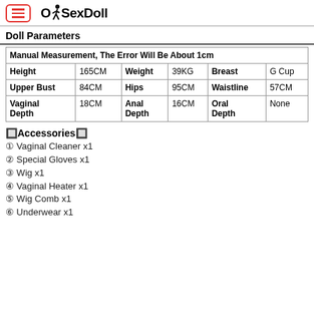OkSexDoll
Doll Parameters
| Manual Measurement, The Error Will Be About 1cm |  |  |  |  |  |
| Height | 165CM | Weight | 39KG | Breast | G Cup |
| Upper Bust | 84CM | Hips | 95CM | Waistline | 57CM |
| Vaginal Depth | 18CM | Anal Depth | 16CM | Oral Depth | None |
🔲Accessories🔲
① Vaginal Cleaner x1
② Special Gloves x1
③ Wig x1
④ Vaginal Heater x1
⑤ Wig Comb x1
⑥ Underwear x1